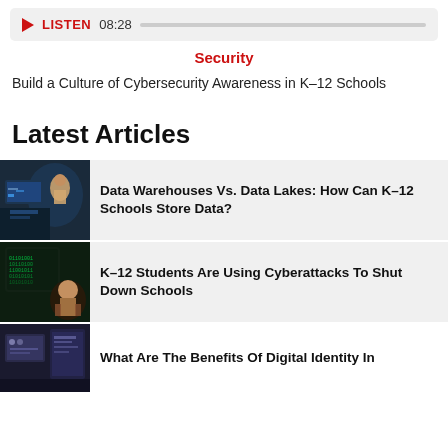[Figure (other): Audio player bar with red play button, LISTEN label, time 08:28, and grey progress bar]
Security
Build a Culture of Cybersecurity Awareness in K–12 Schools
Latest Articles
[Figure (photo): Person looking at data screens in dark room]
Data Warehouses Vs. Data Lakes: How Can K–12 Schools Store Data?
[Figure (photo): Computer screen with green code/hacking visuals in dark setting]
K–12 Students Are Using Cyberattacks To Shut Down Schools
[Figure (photo): Digital identity related image, partially visible]
What Are The Benefits Of Digital Identity In